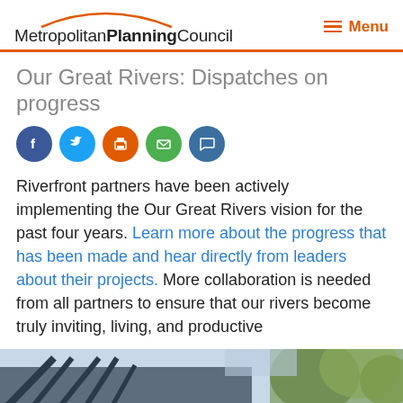Metropolitan Planning Council | Menu
Our Great Rivers: Dispatches on progress
[Figure (infographic): Social sharing icons: Facebook (blue circle), Twitter (blue circle), Print (orange circle), Email (green circle), Comment (dark blue circle)]
Riverfront partners have been actively implementing the Our Great Rivers vision for the past four years. Learn more about the progress that has been made and hear directly from leaders about their projects. More collaboration is needed from all partners to ensure that our rivers become truly inviting, living, and productive
[Figure (photo): A partial photograph of a bridge structure with metal framework visible, with trees and sky in the background]